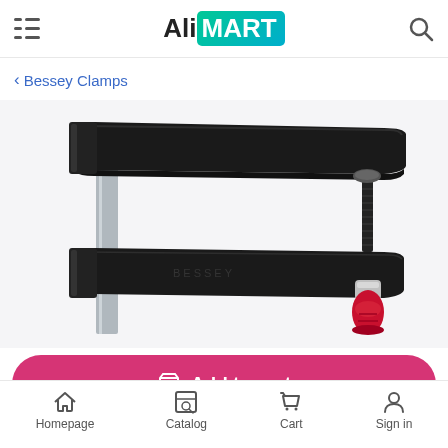AliMART
< Bessey Clamps
[Figure (photo): A Bessey F-style bar clamp with black cast iron jaws, silver steel bar, and red handle on the screw mechanism, photographed against a white background.]
Add to cart
Homepage | Catalog | Cart | Sign in